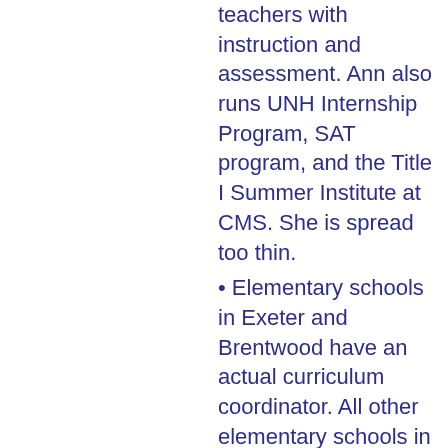teachers with instruction and assessment. Ann also runs UNH Internship Program, SAT program, and the Title I Summer Institute at CMS. She is spread too thin.
Elementary schools in Exeter and Brentwood have an actual curriculum coordinator. All other elementary schools in the SAU only have a teacher who serves as a curriculum rep (volunteer position).
Public complaint in the past - SAU16 is adding more administration positions, but the student population has been going down, so committee member wants to keep this position (if added) budget neutral.
Teachers/Paras/Admins - 8/14